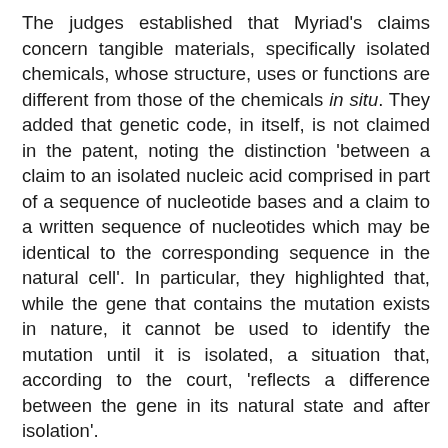The judges established that Myriad's claims concern tangible materials, specifically isolated chemicals, whose structure, uses or functions are different from those of the chemicals in situ. They added that genetic code, in itself, is not claimed in the patent, noting the distinction 'between a claim to an isolated nucleic acid comprised in part of a sequence of nucleotide bases and a claim to a written sequence of nucleotides which may be identical to the corresponding sequence in the natural cell'. In particular, they highlighted that, while the gene that contains the mutation exists in nature, it cannot be used to identify the mutation until it is isolated, a situation that, according to the court, 'reflects a difference between the gene in its natural state and after isolation'.
Tackling the different interpretation given by the US Supreme Court, the judges critically observed that the US decision erred in (i) relying on an analysis of similarities/differences in the location and order of the nucleotides, rather than in the chemical structure, (ii) interpreting Myriad's claim as directed to information contained in the genetic sequence, (ii) finding that the isolated nucleic acid was a product of nature. The